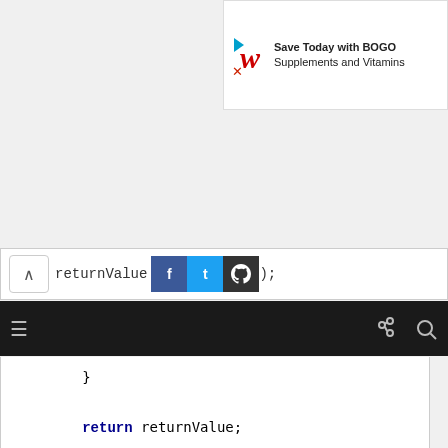[Figure (screenshot): Advertisement banner for Walgreens showing a stylized 'W' logo and text 'Save Today with BOGO Supplements and Vitamins']
returnValue    );  (truncated code line with share buttons overlay)
[Figure (screenshot): Dark navigation toolbar with hamburger menu icon on left and link/search icons on right]
}
        return returnValue;
    }